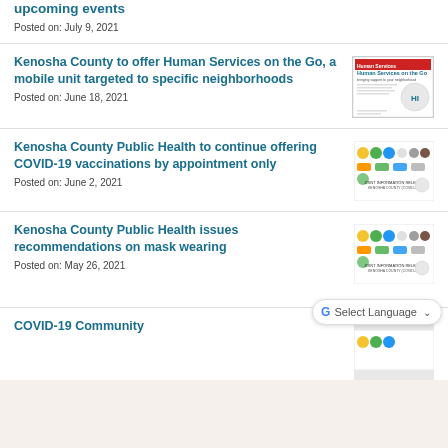upcoming events
Posted on: July 9, 2021
Kenosha County to offer Human Services on the Go, a mobile unit targeted to specific neighborhoods
Posted on: June 18, 2021
[Figure (photo): Human Services on the Go flyer thumbnail]
Kenosha County Public Health to continue offering COVID-19 vaccinations by appointment only
Posted on: June 2, 2021
[Figure (photo): Joint Information Release logos thumbnail]
Kenosha County Public Health issues recommendations on mask wearing
Posted on: May 26, 2021
[Figure (photo): Joint Information Release logos thumbnail]
COVID-19 Community
[Figure (photo): Partial thumbnail visible at bottom]